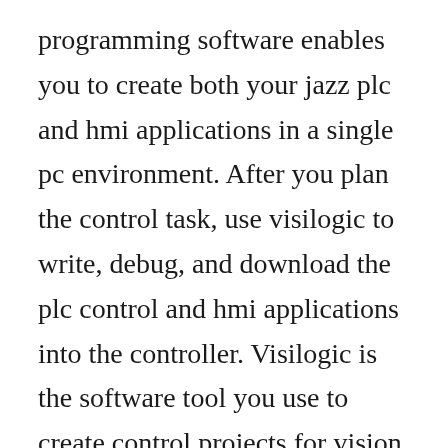programming software enables you to create both your jazz plc and hmi applications in a single pc environment. After you plan the control task, use visilogic to write, debug, and download the plc control and hmi applications into the controller. Visilogic is the software tool you use to create control projects for vision controllers. Ladder programming manual this manual describes basic operations for ladder programming, instructions for editing and monitoring ladders on the smartaxis, available devices and instruction lists, and details of each instruction